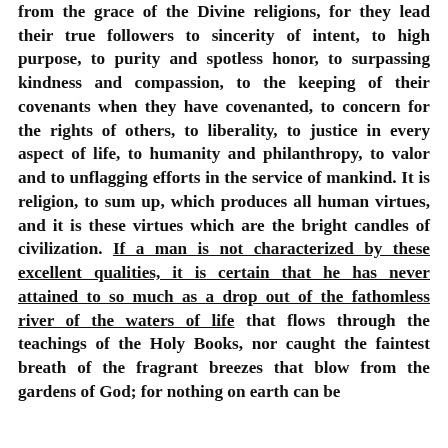from the grace of the Divine religions, for they lead their true followers to sincerity of intent, to high purpose, to purity and spotless honor, to surpassing kindness and compassion, to the keeping of their covenants when they have covenanted, to concern for the rights of others, to liberality, to justice in every aspect of life, to humanity and philanthropy, to valor and to unflagging efforts in the service of mankind. It is religion, to sum up, which produces all human virtues, and it is these virtues which are the bright candles of civilization. If a man is not characterized by these excellent qualities, it is certain that he has never attained to so much as a drop out of the fathomless river of the waters of life that flows through the teachings of the Holy Books, nor caught the faintest breath of the fragrant breezes that blow from the gardens of God; for nothing on earth can be